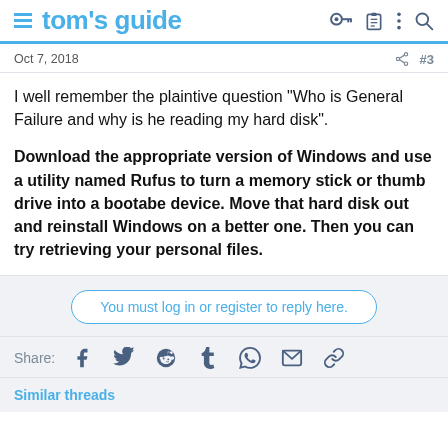tom's guide
Oct 7, 2018  #3
I well remember the plaintive question "Who is General Failure and why is he reading my hard disk".
Download the appropriate version of Windows and use a utility named Rufus to turn a memory stick or thumb drive into a bootabe device. Move that hard disk out and reinstall Windows on a better one. Then you can try retrieving your personal files.
You must log in or register to reply here.
Share:
Similar threads